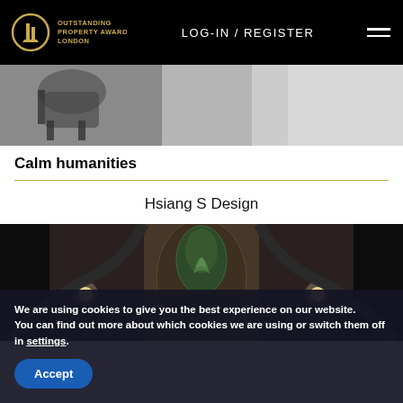OUTSTANDING PROPERTY AWARD LONDON | LOG-IN / REGISTER
[Figure (photo): Partial view of a room interior, showing what appears to be a chair or furniture piece against a light background, cropped at the top of the page]
Calm humanities
Hsiang S Design
[Figure (photo): Interior design photo showing an ornate circular ceiling or room design with dark walls, decorative patterned wallpaper or artwork in the center, and accent lighting on either side]
We are using cookies to give you the best experience on our website.
You can find out more about which cookies we are using or switch them off in settings.